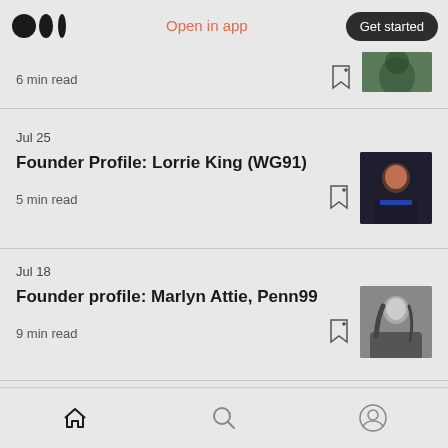Medium logo | Open in app | Get started
6 min read
Jul 25
Founder Profile: Lorrie King (WG91)
5 min read
Jul 18
Founder profile: Marlyn Attie, Penn99
9 min read